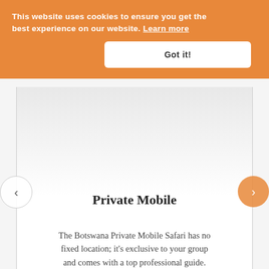This website uses cookies to ensure you get the best experience on our website. Learn more
Got it!
[Figure (screenshot): Image slider area with light gray gradient background, showing a carousel component.]
Private Mobile
The Botswana Private Mobile Safari has no fixed location; it's exclusive to your group and comes with a top professional guide.